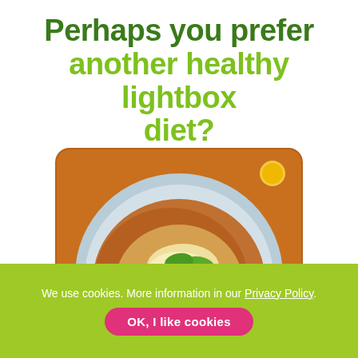Perhaps you prefer another healthy lightbox diet?
[Figure (photo): Overhead view of a bowl of Mexican-style food with ground meat, corn, shredded cheese, lime wedges, cilantro, and tortilla chips, on an orange-brown surface with a small yellow tomato in the upper right corner.]
We use cookies. More information in our Privacy Policy.
OK, I like cookies